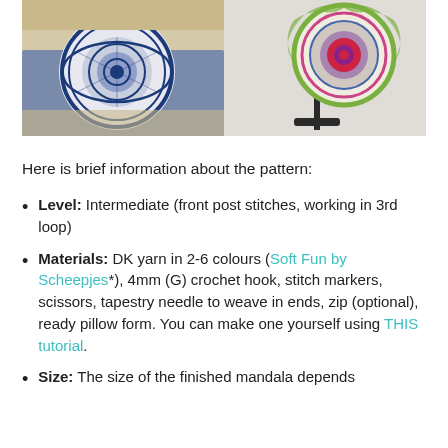[Figure (photo): Two round mandala crochet pillows side by side. Left pillow has blue and white geometric mandala pattern resting on a knit blanket. Right pillow has colorful mandala pattern displayed on a black stand.]
Here is brief information about the pattern:
Level: Intermediate (front post stitches, working in 3rd loop)
Materials: DK yarn in 2-6 colours (Soft Fun by Scheepjes*), 4mm (G) crochet hook, stitch markers, scissors, tapestry needle to weave in ends, zip (optional), ready pillow form. You can make one yourself using THIS tutorial.
Size: The size of the finished mandala depends